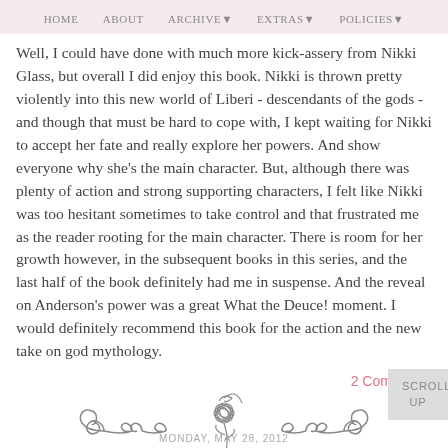HOME   ABOUT   ARCHIVE ▼   EXTRAS ▼   POLICIES ▼
Well, I could have done with much more kick-assery from Nikki Glass, but overall I did enjoy this book.  Nikki is thrown pretty violently into this new world of Liberi - descendants of the gods - and though that must be hard to cope with,  I kept waiting for Nikki to accept her fate and really explore her powers.  And show everyone why she's the main character.  But, although there was plenty of action and strong supporting characters, I felt like Nikki was too hesitant sometimes to take control and that frustrated me as the reader rooting for the main character.  There is room for her growth however, in the subsequent books in this series, and the last half of the book definitely had me in suspense.  And the reveal on Anderson's power was a great What the Deuce! moment.  I would definitely recommend this book for the action and the new take on god mythology.
2 Comments
[Figure (illustration): Decorative divider with scrollwork and a rose in the center]
SCROLL UP
MONDAY, MAY 28, 2012